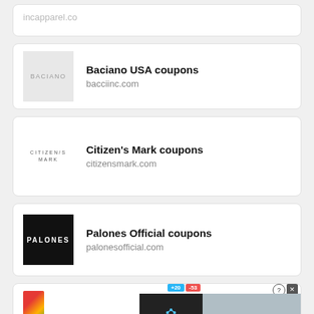incapparel.co
[Figure (logo): Baciano brand logo on grey background]
Baciano USA coupons
bacciinc.com
[Figure (logo): Citizen's Mark brand logo text]
Citizen's Mark coupons
citizensmark.com
[Figure (logo): Palones brand logo, white text on black background]
Palones Official coupons
palonesofficial.com
[Figure (screenshot): Partial card with Hold and Move advertisement overlay]